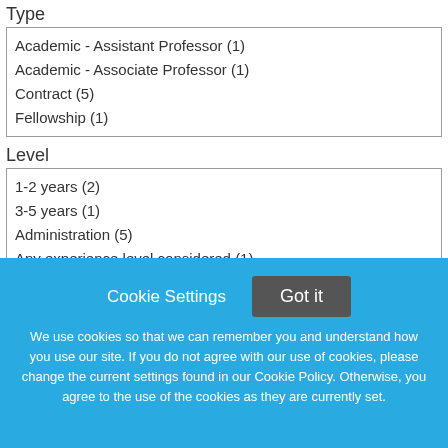Type
Academic - Assistant Professor (1)
Academic - Associate Professor (1)
Contract (5)
Fellowship (1)
Level
1-2 years (2)
3-5 years (1)
Administration (5)
Any experience level considered (1)
Education
2 Year Degree (6)
4 Year Degree (54)
Associate's (1)
Bachelor's (6)
Cookie Settings
Got it
We use cookies so that we can remember you and understand how you use our site. If you do not agree with our use of cookies, please change the current settings found in our Cookie Policy. Otherwise, you agree to the use of the cookies as they are currently set.